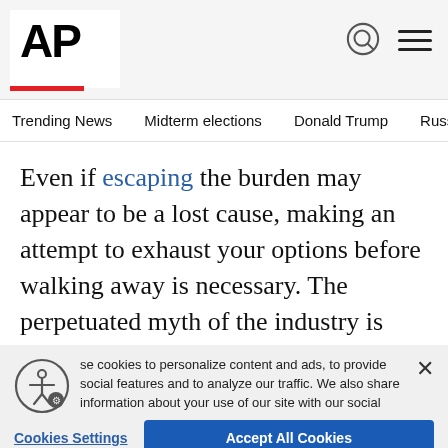AP
Trending News  Midterm elections  Donald Trump  Russia-Ukr
Even if escaping the burden may appear to be a lost cause, making an attempt to exhaust your options before walking away is necessary. The perpetuated myth of the industry is that resorts want disgruntled buyers to think it's impossible to get out of a timeshare. But if the purchase is hindering you, what do you have to lose?
se cookies to personalize content and ads, to provide social features and to analyze our traffic. We also share information about your use of our site with our social media, advertising and analytics partners. Privacy Policy
Cookies Settings    Accept All Cookies